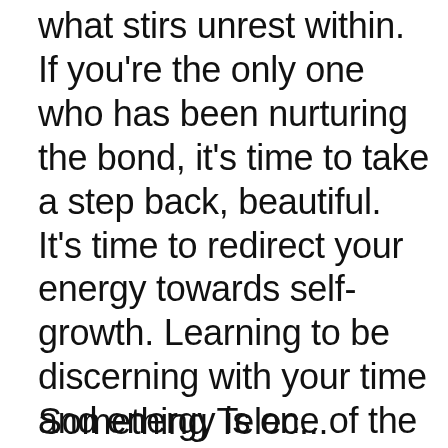what stirs unrest within. If you're the only one who has been nurturing the bond, it's time to take a step back, beautiful. It's time to redirect your energy towards self-growth. Learning to be discerning with your time and energy is one of the most precious gifts you can give yourself.
Something Telec...